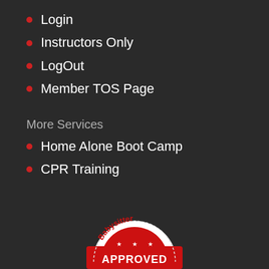Login
Instructors Only
LogOut
Member TOS Page
More Services
Home Alone Boot Camp
CPR Training
[Figure (logo): Babysitter Approved stamp/seal logo in red and white, semicircular badge with stars and 'APPROVED' text]